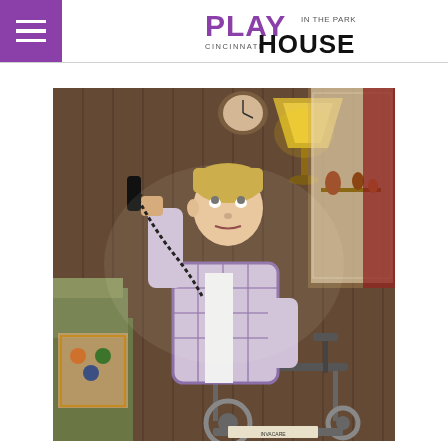Cincinnati Playhouse in the Park logo with hamburger menu
[Figure (photo): A man in a plaid flannel shirt sitting in a wheelchair on a theater stage set, holding an old-style telephone handset to his ear and looking upward with an anxious expression. The stage set depicts a home interior with wood-paneled walls, a yellow lamp, lace curtains, and a crocheted chair. The actor appears to be in a dramatic scene.]